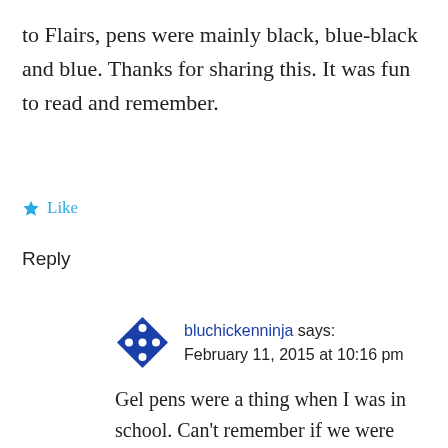to Flairs, pens were mainly black, blue-black and blue. Thanks for sharing this. It was fun to read and remember.
★ Like
Reply
bluchickenninja says: February 11, 2015 at 10:16 pm
Gel pens were a thing when I was in school. Can't remember if we were actually allowed to use them in class. I think not but I had so many gel pens. It was ridiculous.
★ Like